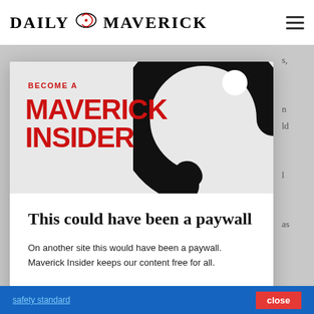DAILY MAVERICK
[Figure (infographic): Maverick Insider promotional banner with red bold text 'BECOME A MAVERICK INSIDER' on light grey background with large decorative black circular arrow/swirl symbol]
This could have been a paywall
On another site this would have been a paywall. Maverick Insider keeps our content free for all.
Become an Insider
safety standard